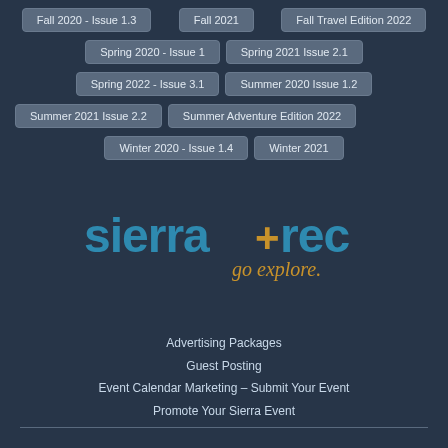Fall 2020 - Issue 1.3
Fall 2021
Fall Travel Edition 2022
Spring 2020 - Issue 1
Spring 2021 Issue 2.1
Spring 2022 - Issue 3.1
Summer 2020 Issue 1.2
Summer 2021 Issue 2.2
Summer Adventure Edition 2022
Winter 2020 - Issue 1.4
Winter 2021
[Figure (logo): Sierra+rec go explore logo with blue text and gold plus sign and italic gold 'go explore' tagline]
Advertising Packages
Guest Posting
Event Calendar Marketing – Submit Your Event
Promote Your Sierra Event